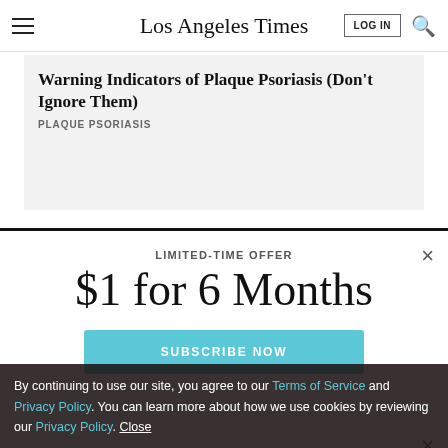Los Angeles Times
Warning Indicators of Plaque Psoriasis (Don't Ignore Them)
PLAQUE PSORIASIS
LIMITED-TIME OFFER
$1 for 6 Months
SUBSCRIBE NOW
By continuing to use our site, you agree to our Terms of Service and Privacy Policy. You can learn more about how we use cookies by reviewing our Privacy Policy. Close